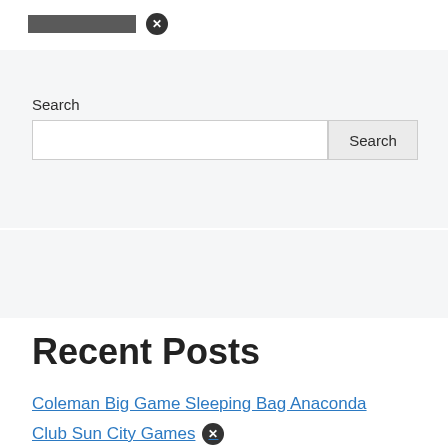[Figure (screenshot): Top bar with dark rectangular logo placeholder and a circular close (X) icon]
Search
[Figure (screenshot): Search input field with a Search button]
Recent Posts
Coleman Big Game Sleeping Bag Anaconda
Club Sun City Games